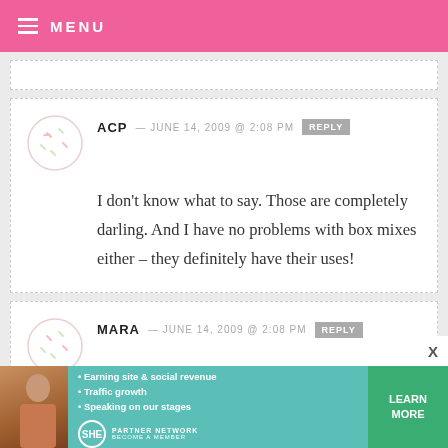MENU
ACP — JUNE 14, 2009 @ 2:08 PM
I don't know what to say. Those are completely darling. And I have no problems with box mixes either – they definitely have their uses!
MARA — JUNE 14, 2009 @ 2:08 PM
[Figure (infographic): SHE Partner Network advertisement banner with bullet points: Earning site & social revenue, Traffic growth, Speaking on our stages. Includes Learn More button.]